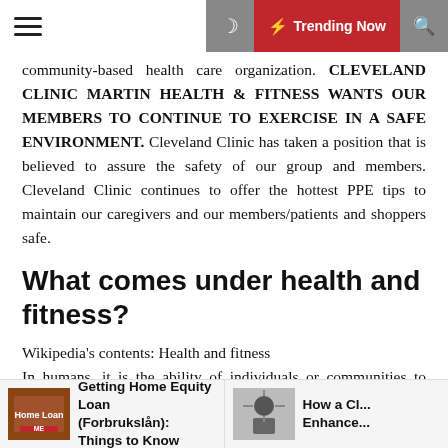Trending Now
community-based health care organization. CLEVELAND CLINIC MARTIN HEALTH & FITNESS WANTS OUR MEMBERS TO CONTINUE TO EXERCISE IN A SAFE ENVIRONMENT. Cleveland Clinic has taken a position that is believed to assure the safety of our group and members. Cleveland Clinic continues to offer the hottest PPE tips to maintain our caregivers and our members/patients and shoppers safe.
What comes under health and fitness?
Wikipedia's contents: Health and fitness
In humans, it is the ability of individuals or communities to adapt and self-manage when facing physical, mental, or social challenges. The most widely accepted definition of good health is that of the World Health Organization Constitution.
Getting Home Equity Loan (Forbrukslån): Things to Know
How a C... Enhance...